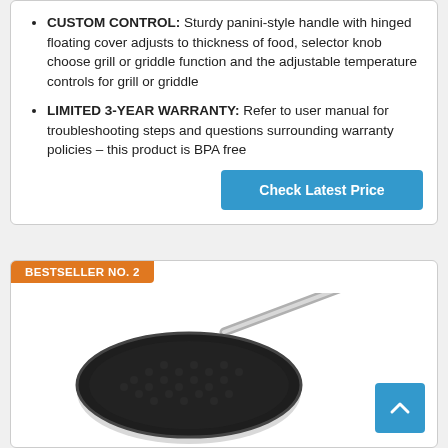CUSTOM CONTROL: Sturdy panini-style handle with hinged floating cover adjusts to thickness of food, selector knob choose grill or griddle function and the adjustable temperature controls for grill or griddle
LIMITED 3-YEAR WARRANTY: Refer to user manual for troubleshooting steps and questions surrounding warranty policies – this product is BPA free
Check Latest Price
BESTSELLER NO. 2
[Figure (photo): A dark non-stick frying pan with a stainless steel handle, viewed from above at a slight angle. The pan surface has a honeycomb/textured pattern.]